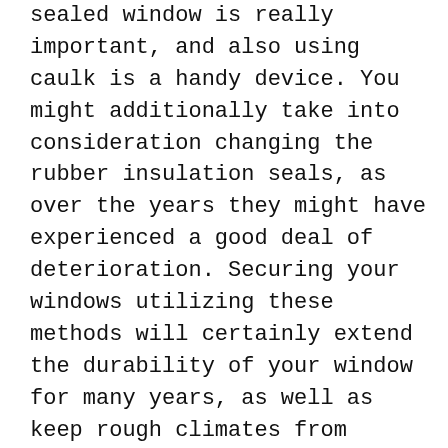sealed window is really important, and also using caulk is a handy device. You might additionally take into consideration changing the rubber insulation seals, as over the years they might have experienced a good deal of deterioration. Securing your windows utilizing these methods will certainly extend the durability of your window for many years, as well as keep rough climates from penetrating your house.
Evaluation as well as Repairs
Though you can take preventative measures, windows are not